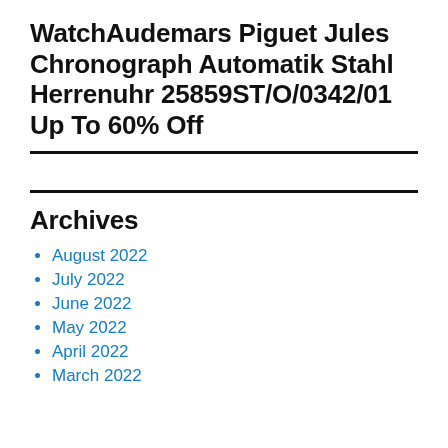WatchAudemars Piguet Jules Chronograph Automatik Stahl Herrenuhr 25859ST/O/0342/01 Up To 60% Off
Archives
August 2022
July 2022
June 2022
May 2022
April 2022
March 2022